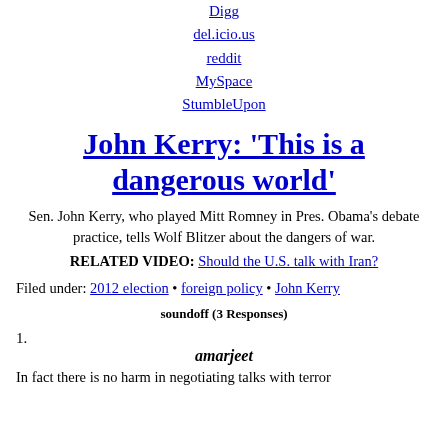Digg
del.icio.us
reddit
MySpace
StumbleUpon
John Kerry: 'This is a dangerous world'
Sen. John Kerry, who played Mitt Romney in Pres. Obama's debate practice, tells Wolf Blitzer about the dangers of war.
RELATED VIDEO: Should the U.S. talk with Iran?
Filed under: 2012 election • foreign policy • John Kerry
soundoff (3 Responses)
amarjeet
In fact there is no harm in negotiating talks with terror